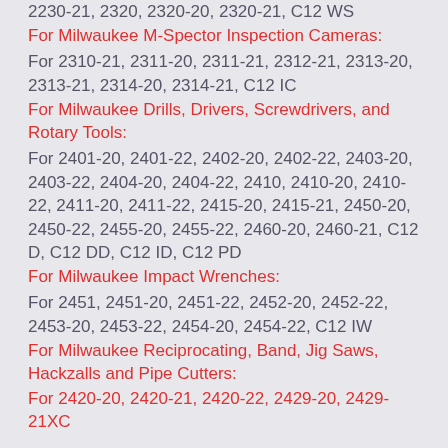2230-21, 2320, 2320-20, 2320-21, C12 WS
For Milwaukee M-Spector Inspection Cameras:
For 2310-21, 2311-20, 2311-21, 2312-21, 2313-20, 2313-21, 2314-20, 2314-21, C12 IC
For Milwaukee Drills, Drivers, Screwdrivers, and Rotary Tools:
For 2401-20, 2401-22, 2402-20, 2402-22, 2403-20, 2403-22, 2404-20, 2404-22, 2410, 2410-20, 2410-22, 2411-20, 2411-22, 2415-20, 2415-21, 2450-20, 2450-22, 2455-20, 2455-22, 2460-20, 2460-21, C12 D, C12 DD, C12 ID, C12 PD
For Milwaukee Impact Wrenches:
For 2451, 2451-20, 2451-22, 2452-20, 2452-22, 2453-20, 2453-22, 2454-20, 2454-22, C12 IW
For Milwaukee Reciprocating, Band, Jig Saws, Hackzalls and Pipe Cutters:
For 2420-20, 2420-21, 2420-22, 2429-20, 2429-21XC